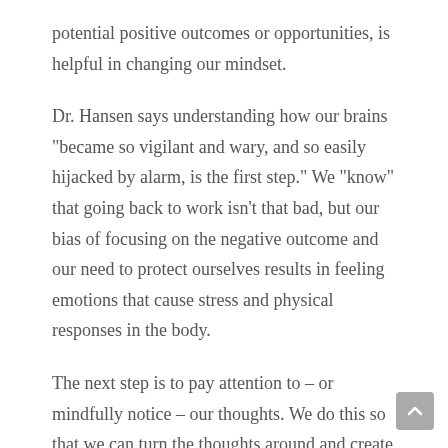potential positive outcomes or opportunities, is helpful in changing our mindset.
Dr. Hansen says understanding how our brains "became so vigilant and wary, and so easily hijacked by alarm, is the first step." We "know" that going back to work isn't that bad, but our bias of focusing on the negative outcome and our need to protect ourselves results in feeling emotions that cause stress and physical responses in the body.
The next step is to pay attention to – or mindfully notice – our thoughts. We do this so that we can turn the thoughts around and create a sense of calm about the situation.